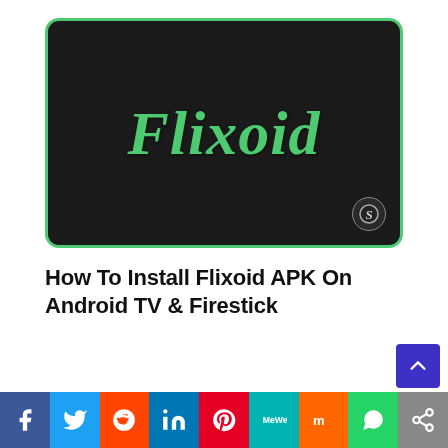[Figure (logo): Flixoid app logo: dark rounded rectangle with green border, displaying 'Flixoid' in large green serif italic font, with a small circular badge in the bottom right corner.]
How To Install Flixoid APK On Android TV & Firestick
[Figure (infographic): Social media share bar with icons for Facebook, Twitter, Reddit, LinkedIn, Pinterest, MeWe, Mix, WhatsApp, and a share icon.]